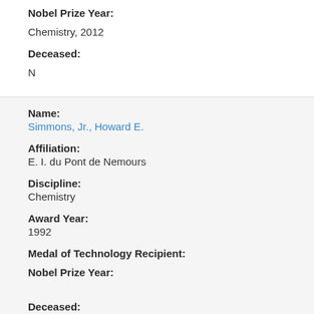Nobel Prize Year:
Chemistry, 2012
Deceased:
N
Name:
Simmons, Jr., Howard E.
Affiliation:
E. I. du Pont de Nemours
Discipline:
Chemistry
Award Year:
1992
Medal of Technology Recipient:
Nobel Prize Year:
Deceased:
Y